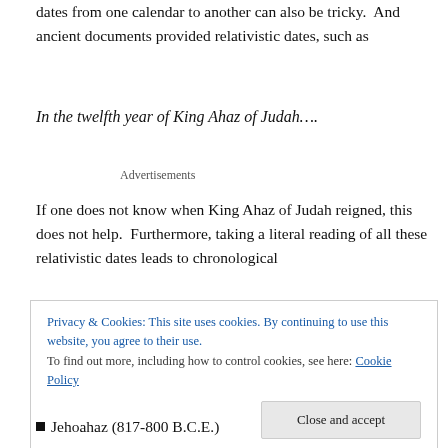dates from one calendar to another can also be tricky. And ancient documents provided relativistic dates, such as
In the twelfth year of King Ahaz of Judah….
Advertisements
If one does not know when King Ahaz of Judah reigned, this does not help.  Furthermore, taking a literal reading of all these relativistic dates leads to chronological
Privacy & Cookies: This site uses cookies. By continuing to use this website, you agree to their use.
To find out more, including how to control cookies, see here: Cookie Policy
Close and accept
Jehoahaz (817-800 B.C.E.)